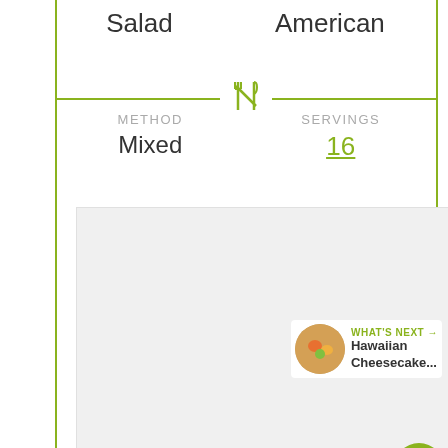Salad
American
METHOD
Mixed
SERVINGS
16
[Figure (photo): Food image placeholder (light gray rectangle)]
112
WHAT'S NEXT → Hawaiian Cheesecake...